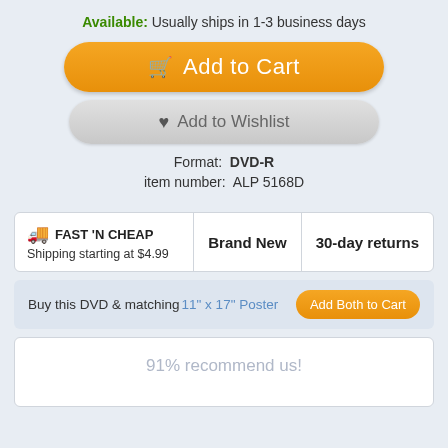Available: Usually ships in 1-3 business days
Add to Cart
Add to Wishlist
Format:  DVD-R
item number:  ALP 5168D
FAST 'N CHEAP Shipping starting at $4.99 | Brand New | 30-day returns
Buy this DVD & matching 11" x 17" Poster  Add Both to Cart
91% recommend us!